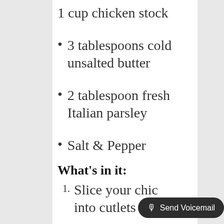1 cup chicken stock
3 tablespoons cold unsalted butter
2 tablespoon fresh Italian parsley
Salt & Pepper
What's in it:
Slice your chicken into cutlets